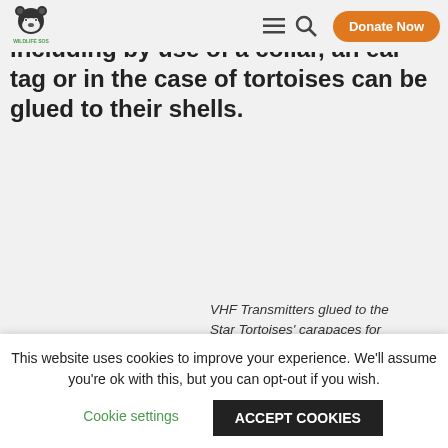Wildlife SOS [logo] [menu icon] [search icon] Donate Now
fitted to the animals in multiple ways including by use of a collar, an ear tag or in the case of tortoises can be glued to their shells.
VHF Transmitters glued to the Star Tortoises' carapaces for easier tracking at
This website uses cookies to improve your experience. We'll assume you're ok with this, but you can opt-out if you wish. Cookie settings ACCEPT COOKIES